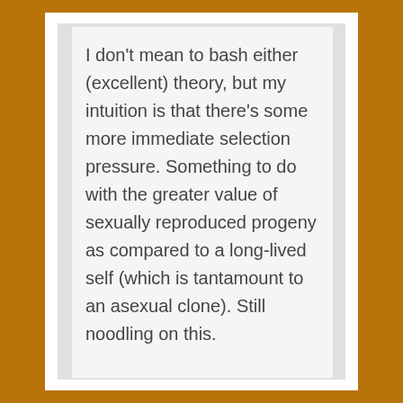I don't mean to bash either (excellent) theory, but my intuition is that there's some more immediate selection pressure. Something to do with the greater value of sexually reproduced progeny as compared to a long-lived self (which is tantamount to an asexual clone). Still noodling on this.